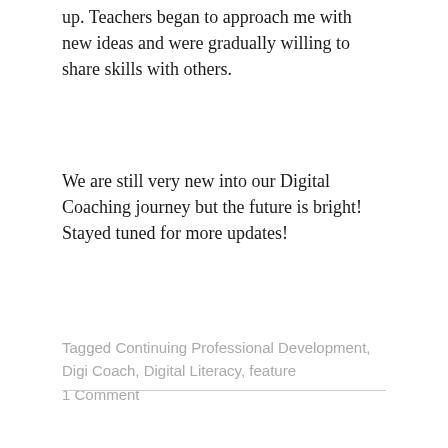up. Teachers began to approach me with new ideas and were gradually willing to share skills with others.
We are still very new into our Digital Coaching journey but the future is bright! Stayed tuned for more updates!
Tagged Continuing Professional Development, Digi Coach, Digital Literacy, feature
1 Comment